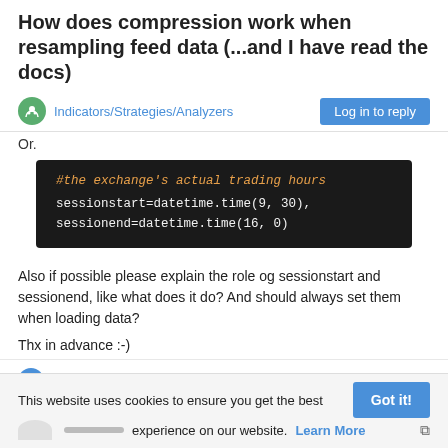How does compression work when resampling feed data (...and I have read the docs)
Indicators/Strategies/Analyzers
Or.
#the exchange's actual trading hours
sessionstart=datetime.time(9, 30),
sessionend=datetime.time(16, 0)
Also if possible please explain the role og sessionstart and sessionend, like what does it do? And should always set them when loading data?
Thx in advance :-)
1 Reply
This website uses cookies to ensure you get the best experience on our website. Learn More